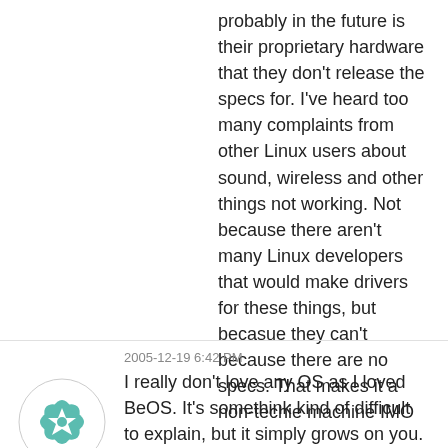probably in the future is their proprietary hardware that they don't release the specs for. I've heard too many complaints from other Linux users about sound, wireless and other things not working. Not because there aren't many Linux developers that would make drivers for these things, but becasue they can't because there are no specs. That makes it a non-techie machine IMO
[Figure (illustration): Circular avatar icon with teal/green geometric floral pattern design]
2005-12-19 6:42 PM
I really don't love any OS as I loved BeOS. It's somethink kind of difficult to explain, but it simply grows on you.
OS X is nice, XP is kinda nice, Linux is nice.
But I really don't love any of these OSes nowadays